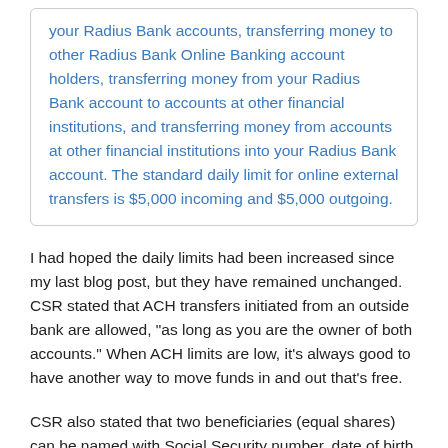your Radius Bank accounts, transferring money to other Radius Bank Online Banking account holders, transferring money from your Radius Bank account to accounts at other financial institutions, and transferring money from accounts at other financial institutions into your Radius Bank account. The standard daily limit for online external transfers is $5,000 incoming and $5,000 outgoing.
I had hoped the daily limits had been increased since my last blog post, but they have remained unchanged. CSR stated that ACH transfers initiated from an outside bank are allowed, "as long as you are the owner of both accounts." When ACH limits are low, it's always good to have another way to move funds in and out that's free.
CSR also stated that two beneficiaries (equal shares) can be named with Social Security number, date of birth and full address required.
Availability